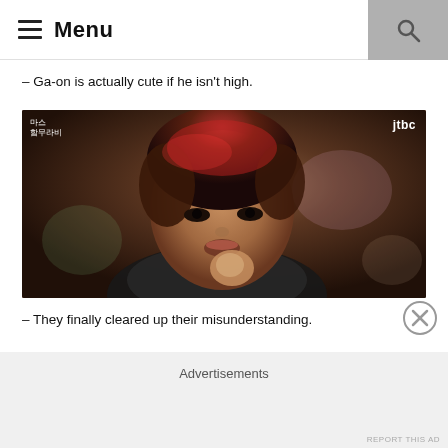Menu
– Ga-on is actually cute if he isn't high.
[Figure (screenshot): Screenshot from Korean drama 'Miss Hammurabi' on JTBC. A young man with dark reddish-brown hair holds something to his mouth, looking slightly upward. The JTBC logo and Korean text are visible in the corners.]
– They finally cleared up their misunderstanding.
Advertisements